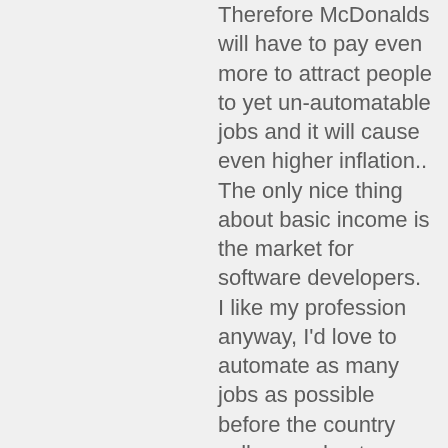Therefore McDonalds will have to pay even more to attract people to yet un-automatable jobs and it will cause even higher inflation.. The only nice thing about basic income is the market for software developers. I like my profession anyway, I'd love to automate as many jobs as possible before the country collapses due to hyperinflation.